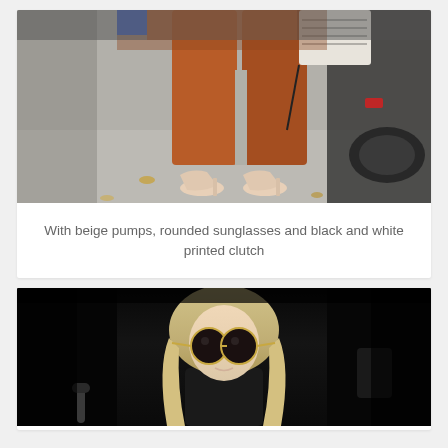[Figure (photo): Street style photo showing lower body of a person wearing a rust/terracotta orange suit with cropped trousers, beige pointed-toe pumps, holding a black and white printed clutch bag]
With beige pumps, rounded sunglasses and black and white printed clutch
[Figure (photo): Photo of a blonde woman wearing large round sunglasses, photographed against a dark background]